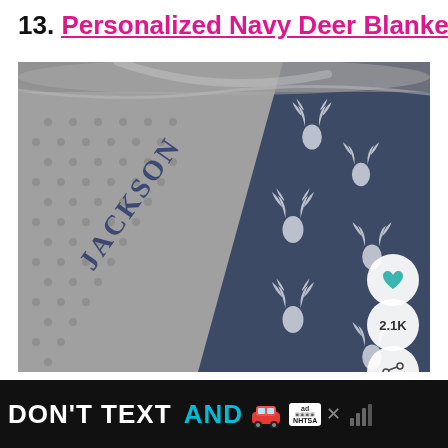13. Personalized Navy Deer Blanket
[Figure (photo): A photo of a personalized baby blanket with two sides: one side is grey minky dot fabric with 'JACKSON' embroidered in navy, and the other side is navy blue fabric with white deer/buck head silhouette pattern. A teal heart icon and '2.1K' and share icon overlay appear on the right side of the image.]
DON'T TEXT AND [car emoji] ad NHTSA [close button] [speaker icon]